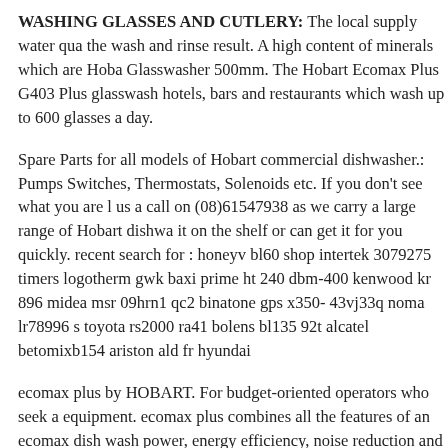WASHING GLASSES AND CUTLERY: The local supply water qua the wash and rinse result. A high content of minerals which are Hoba Glasswasher 500mm. The Hobart Ecomax Plus G403 Plus glasswash hotels, bars and restaurants which wash up to 600 glasses a day.
Spare Parts for all models of Hobart commercial dishwasher.: Pumps Switches, Thermostats, Solenoids etc. If you don't see what you are l us a call on (08)61547938 as we carry a large range of Hobart dishwa it on the shelf or can get it for you quickly. recent search for : honeyv bl60 shop intertek 3079275 timers logotherm gwk baxi prime ht 240 dbm-400 kenwood kr 896 midea msr 09hrn1 qc2 binatone gps x350- 43vj33q noma lr78996 s toyota rs2000 ra41 bolens bl135 92t alcatel betomixb154 ariston ald fr hyundai
ecomax plus by HOBART. For budget-oriented operators who seek a equipment. ecomax plus combines all the features of an ecomax dish wash power, energy efficiency, noise reduction and ease of use.. Plus wash tank; Double-walled housing and heat insulated front door HO (Service Manual) Service Manual HOBART ECOMAX 500 - This S